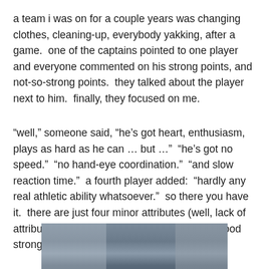a team i was on for a couple years was changing clothes, cleaning-up, everybody yakking, after a game.  one of the captains pointed to one player and everyone commented on his strong points, and not-so-strong points.  they talked about the player next to him.  finally, they focused on me.
“well,” someone said, “he’s got heart, enthusiasm, plays as hard as he can … but …”  “he’s got no speed.”  “no hand-eye coordination.”  “and slow reaction time.”  a fourth player added:  “hardly any real athletic ability whatsoever.”  so there you have it.  there are just four minor attributes (well, lack of attributes) which keep me from being a real good strong & effective fast player.
[Figure (photo): A photograph showing what appears to be an indoor sports facility or gymnasium, partially visible at the bottom of the page.]